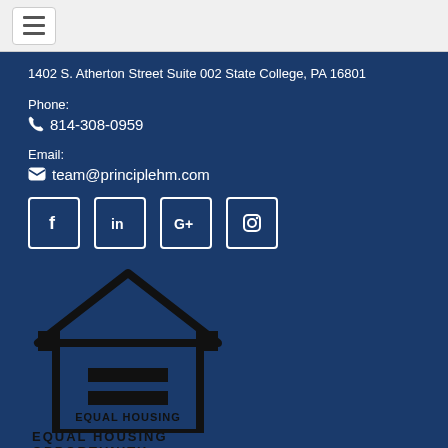☰
1402 S. Atherton Street Suite 002 State College, PA 16801
Phone:
📞 814-308-0959
Email:
✉ team@principlehm.com
[Figure (logo): Social media icons: Facebook, LinkedIn, Google+, Instagram in white-bordered square boxes]
[Figure (logo): Equal Housing Opportunity logo - black house outline with equal sign, text reads EQUAL HOUSING OPPORTUNITY]